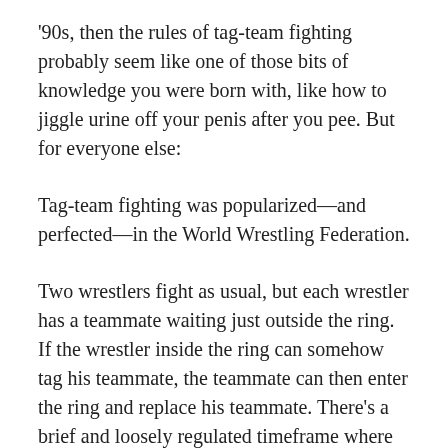'90s, then the rules of tag-team fighting probably seem like one of those bits of knowledge you were born with, like how to jiggle urine off your penis after you pee. But for everyone else:
Tag-team fighting was popularized—and perfected—in the World Wrestling Federation.
Two wrestlers fight as usual, but each wrestler has a teammate waiting just outside the ring. If the wrestler inside the ring can somehow tag his teammate, the teammate can then enter the ring and replace his teammate. There's a brief and loosely regulated timeframe where both wrestlers can be in the ring at the same time, which means that at moments the fight